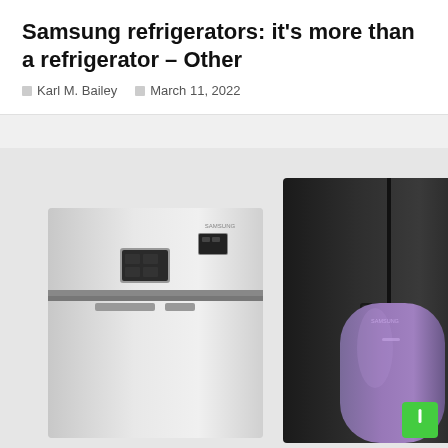Samsung refrigerators: it's more than a refrigerator – Other
Karl M. Bailey   March 11, 2022
[Figure (photo): Three Samsung refrigerators shown side by side: a silver top-freezer model on the left, a large black side-by-side model with water/ice dispenser in the center, and a rounded purple/violet single-door model on the right. Light gray background.]